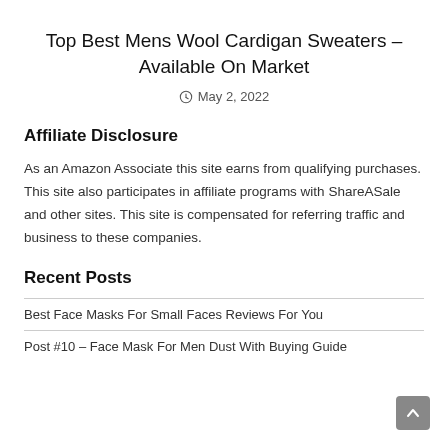Top Best Mens Wool Cardigan Sweaters – Available On Market
May 2, 2022
Affiliate Disclosure
As an Amazon Associate this site earns from qualifying purchases. This site also participates in affiliate programs with ShareASale and other sites. This site is compensated for referring traffic and business to these companies.
Recent Posts
Best Face Masks For Small Faces Reviews For You
Post #10 – Face Mask For Men Dust With Buying Guide